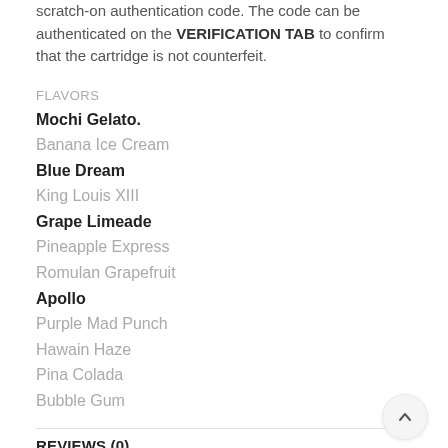scratch-on authentication code. The code can be authenticated on the VERIFICATION TAB to confirm that the cartridge is not counterfeit.
FLAVORS
Mochi Gelato.
Banana Ice Cream
Blue Dream
King Louis XIII
Grape Limeade
Pineapple Express
Romulan Grapefruit
Apollo
Purple Mad Punch
Hawain Haze
Pina Colada
Bubble Gum
REVIEWS (0)